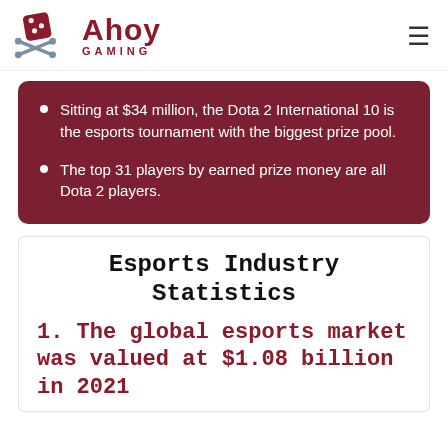Ahoy Gaming
Sitting at $34 million, the Dota 2 International 10 is the esports tournament with the biggest prize pool.
The top 31 players by earned prize money are all Dota 2 players.
Esports Industry Statistics
1. The global esports market was valued at $1.08 billion in 2021